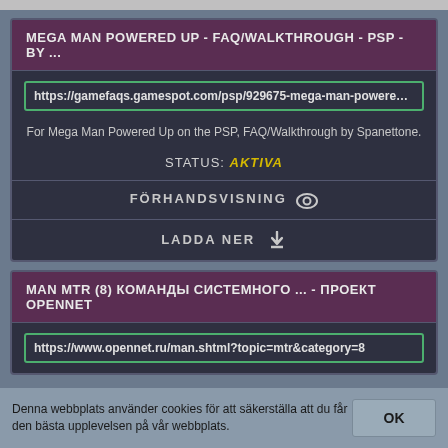MEGA MAN POWERED UP - FAQ/WALKTHROUGH - PSP - BY ...
https://gamefaqs.gamespot.com/psp/929675-mega-man-powered-up/faq
For Mega Man Powered Up on the PSP, FAQ/Walkthrough by Spanettone.
STATUS: AKTIVA
FÖRHANDSVISNING 👁
LADDA NER ⬇
MAN MTR (8) КОМАНДЫ СИСТЕМНОГО ... - ПРОЕКТ OPENNET
https://www.opennet.ru/man.shtml?topic=mtr&category=8
Denna webbplats använder cookies för att säkerställa att du får den bästa upplevelsen på vår webbplats.